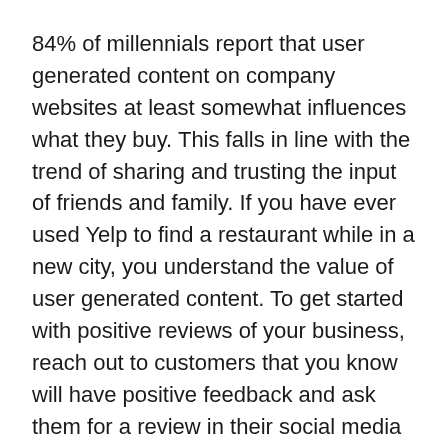84% of millennials report that user generated content on company websites at least somewhat influences what they buy. This falls in line with the trend of sharing and trusting the input of friends and family. If you have ever used Yelp to find a restaurant while in a new city, you understand the value of user generated content. To get started with positive reviews of your business, reach out to customers that you know will have positive feedback and ask them for a review in their social media platform of choice.
85% of millennials have smart phones. Make sure your web site is mobile. Your first impression is likely going to be online. If your web site is not optimized for small screens, your prospects will not stick around. Google